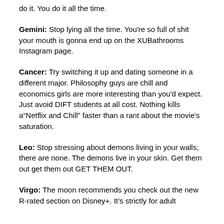do it. You do it all the time.
Gemini: Stop lying all the time. You're so full of shit your mouth is gonna end up on the XUBathrooms Instagram page.
Cancer: Try switching it up and dating someone in a different major. Philosophy guys are chill and economics girls are more interesting than you'd expect. Just avoid DIFT students at all cost. Nothing kills a“Netflix and Chill” faster than a rant about the movie’s saturation.
Leo: Stop stressing about demons living in your walls; there are none. The demons live in your skin. Get them out get them out GET THEM OUT.
Virgo: The moon recommends you check out the new R-rated section on Disney+. It’s strictly for adult